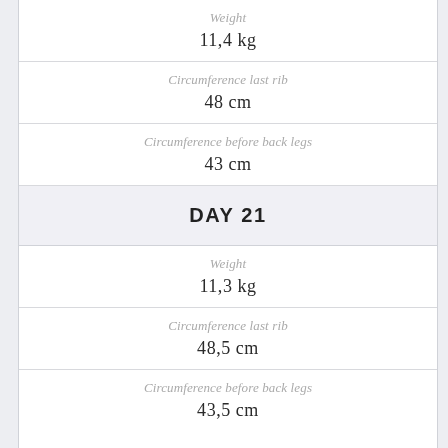| Weight | 11,4 kg |
| Circumference last rib | 48 cm |
| Circumference before back legs | 43 cm |
| DAY 21 |  |
| Weight | 11,3 kg |
| Circumference last rib | 48,5 cm |
| Circumference before back legs | 43,5 cm |